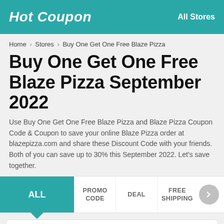Hot Coupon   All Stores
Home > Stores > Buy One Get One Free Blaze Pizza
Buy One Get One Free Blaze Pizza September 2022
Use Buy One Get One Free Blaze Pizza and Blaze Pizza Coupon Code & Coupon to save your online Blaze Pizza order at blazepizza.com and share these Discount Code with your friends. Both of you can save up to 30% this September 2022. Let's save together.
ALL   PROMO CODE   DEAL   FREE SHIPPING
Buy One Get One Free